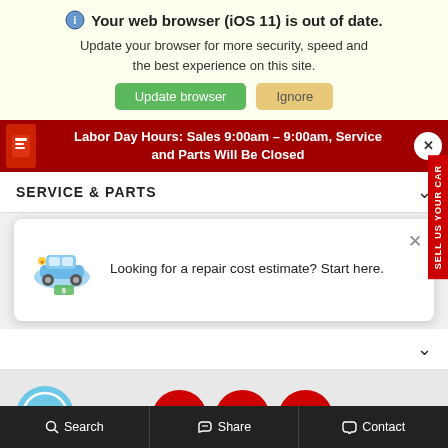Your web browser (iOS 11) is out of date.
Update your browser for more security, speed and the best experience on this site.
Update browser  Ignore
Labor Day Hours: Sales 9:00am – 9:00am, Service and Parts Will Be Closed
SERVICE & PARTS
Looking for a repair cost estimate? Start here.
COPYRIGHT © 2022 TOYOTA OF DOWNTOWN LA
Search  Share  Contact